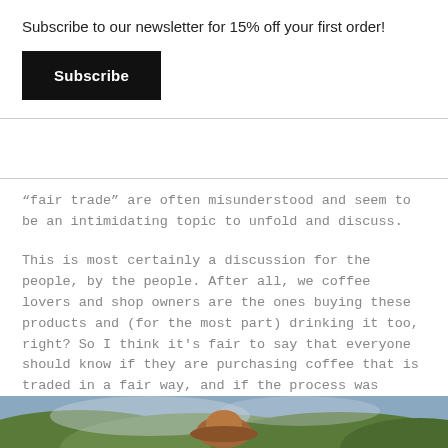Subscribe to our newsletter for 15% off your first order!
Subscribe
“fair trade” are often misunderstood and seem to be an intimidating topic to unfold and discuss.
This is most certainly a discussion for the people, by the people. After all, we coffee lovers and shop owners are the ones buying these products and (for the most part) drinking it too, right? So I think it’s fair to say that everyone should know if they are purchasing coffee that is traded in a fair way, and if the process was direct and transparent.
[Figure (photo): Person wearing a brown hat photographed outdoors among green foliage and misty background]